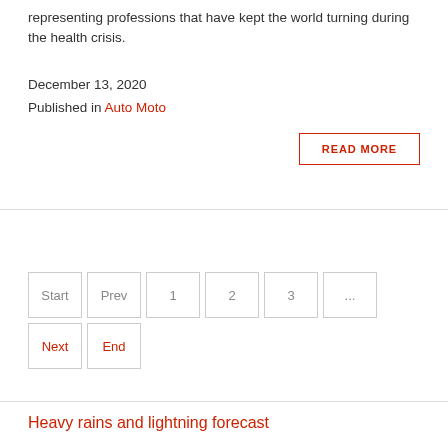representing professions that have kept the world turning during the health crisis.
December 13, 2020
Published in Auto Moto
READ MORE
Start  Prev  1  2  3  ...  Next  End
Heavy rains and lightning forecast